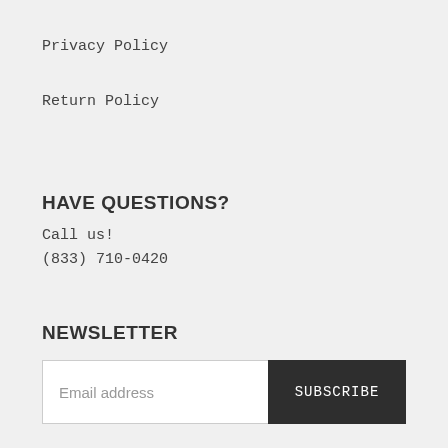Privacy Policy
Return Policy
HAVE QUESTIONS?
Call us!
(833) 710-0420
NEWSLETTER
Email address
SUBSCRIBE